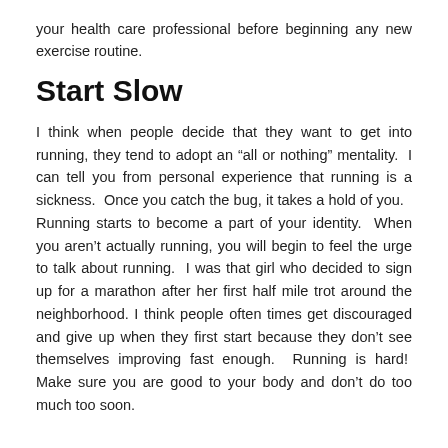your health care professional before beginning any new exercise routine.
Start Slow
I think when people decide that they want to get into running, they tend to adopt an “all or nothing” mentality. I can tell you from personal experience that running is a sickness. Once you catch the bug, it takes a hold of you. Running starts to become a part of your identity. When you aren’t actually running, you will begin to feel the urge to talk about running. I was that girl who decided to sign up for a marathon after her first half mile trot around the neighborhood. I think people often times get discouraged and give up when they first start because they don’t see themselves improving fast enough. Running is hard! Make sure you are good to your body and don’t do too much too soon.